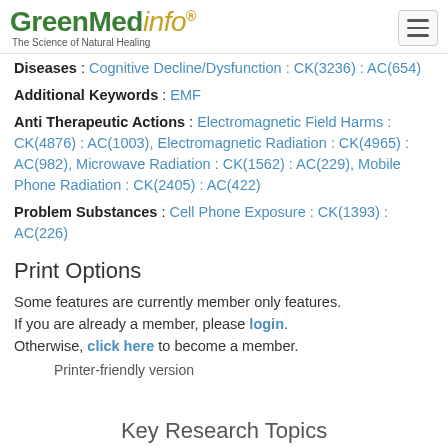GreenMedinfo® — The Science of Natural Healing
Diseases : Cognitive Decline/Dysfunction : CK(3236) : AC(654)
Additional Keywords : EMF
Anti Therapeutic Actions : Electromagnetic Field Harms : CK(4876) : AC(1003), Electromagnetic Radiation : CK(4965) : AC(982), Microwave Radiation : CK(1562) : AC(229), Mobile Phone Radiation : CK(2405) : AC(422)
Problem Substances : Cell Phone Exposure : CK(1393) : AC(226)
Print Options
Some features are currently member only features. If you are already a member, please login. Otherwise, click here to become a member.
Printer-friendly version
Key Research Topics